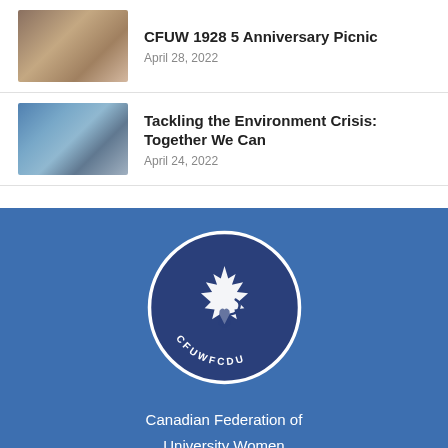CFUW 1928 5 Anniversary Picnic
April 28, 2022
Tackling the Environment Crisis: Together We Can
April 24, 2022
[Figure (logo): CFUW FCFDU circular logo with maple leaf design on dark blue background]
Canadian Federation of University Women
Ontario Council
National
GWI (Graduate Women International)